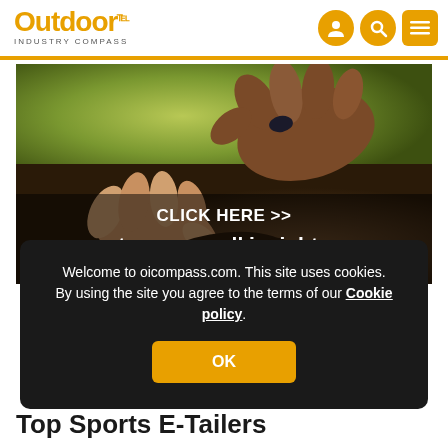Outdoor INDUSTRY COMPASS
[Figure (photo): Close-up photograph of hands passing a seed or small object, set against a blurred green background. Text overlay reads: CLICK HERE >> to access all insights]
Welcome to oicompass.com. This site uses cookies. By using the site you agree to the terms of our Cookie policy.
OK
Top Sports E-Tailers